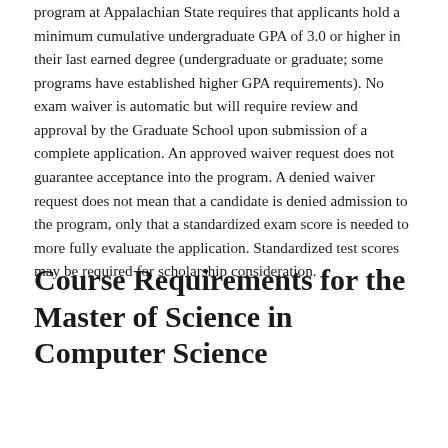program at Appalachian State requires that applicants hold a minimum cumulative undergraduate GPA of 3.0 or higher in their last earned degree (undergraduate or graduate; some programs have established higher GPA requirements). No exam waiver is automatic but will require review and approval by the Graduate School upon submission of a complete application. An approved waiver request does not guarantee acceptance into the program. A denied waiver request does not mean that a candidate is denied admission to the program, only that a standardized exam score is needed to more fully evaluate the application. Standardized test scores may be required for scholarship consideration.
Course Requirements for the Master of Science in Computer Science